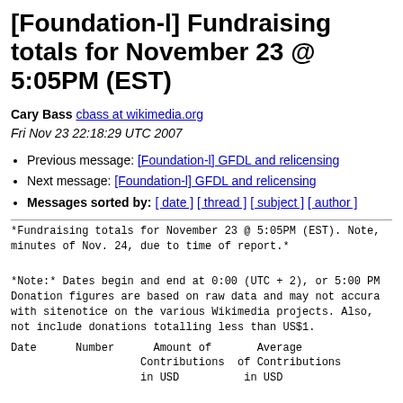[Foundation-l] Fundraising totals for November 23 @ 5:05PM (EST)
Cary Bass cbass at wikimedia.org
Fri Nov 23 22:18:29 UTC 2007
Previous message: [Foundation-l] GFDL and relicensing
Next message: [Foundation-l] GFDL and relicensing
Messages sorted by: [ date ] [ thread ] [ subject ] [ author ]
*Fundraising totals for November 23 @ 5:05PM (EST). Note, minutes of Nov. 24, due to time of report.*
*Note:* Dates begin and end at 0:00 (UTC + 2), or 5:00 PM Donation figures are based on raw data and may not accura with sitenotice on the various Wikimedia projects. Also, not include donations totalling less than US$1.
| Date | Number | Amount of Contributions in USD | Average of Contributions in USD |
| --- | --- | --- | --- |